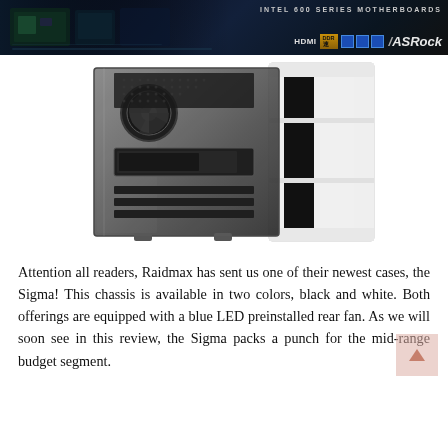[Figure (photo): ASRock Intel 600 Series Motherboards advertisement banner with dark background showing motherboard components, HDMI logo, DDR badge, blue USB/connectivity icons, and ASRock logo]
[Figure (photo): White and black Raidmax Sigma mid-tower PC case with tempered glass side panel, showing interior fan and cable routing, front panel stripe design in black]
Attention all readers, Raidmax has sent us one of their newest cases, the Sigma! This chassis is available in two colors, black and white. Both offerings are equipped with a blue LED preinstalled rear fan. As we will soon see in this review, the Sigma packs a punch for the mid-range budget segment.